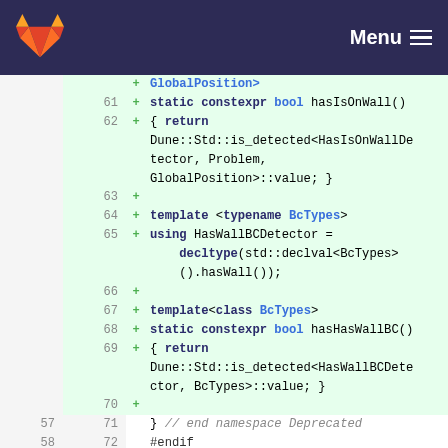GitLab — Menu
Code diff showing lines 61–72 of a C++ source file with added lines for hasIsOnWall(), HasWallBCDetector, hasHasWallBC() and related template declarations, plus unchanged lines 71–72 with end namespace Deprecated and #endif.